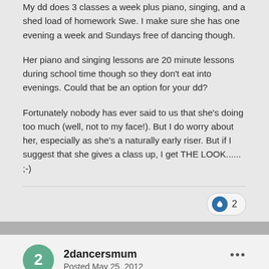My dd does 3 classes a week plus piano, singing, and a shed load of homework Swe. I make sure she has one evening a week and Sundays free of dancing though.
Her piano and singing lessons are 20 minute lessons during school time though so they don't eat into evenings. Could that be an option for your dd?
Fortunately nobody has ever said to us that she's doing too much (well, not to my face!). But I do worry about her, especially as she's a naturally early riser. But if I suggest that she gives a class up, I get THE LOOK...... ;-)
2dancersmum
Posted May 25, 2012
My first piece of advice would be to ignore all the comments. You,